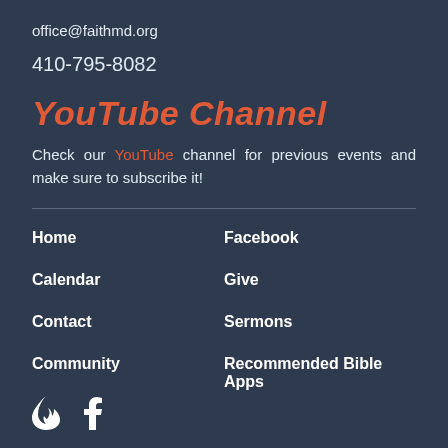office@faithmd.org
410-795-8082
YouTube Channel
Check our YouTube channel for previous events and make sure to subscribe it!
Home
Facebook
Calendar
Give
Contact
Sermons
Community
Recommended Bible Apps
[Figure (illustration): Flame icon and Facebook icon in white]